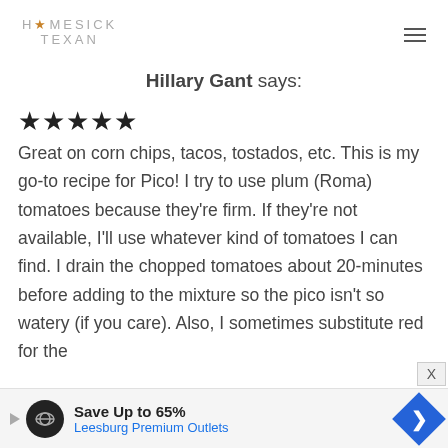HOMESICK TEXAN
Hillary Gant says:
★★★★★
Great on corn chips, tacos, tostados, etc. This is my go-to recipe for Pico! I try to use plum (Roma) tomatoes because they're firm. If they're not available, I'll use whatever kind of tomatoes I can find. I drain the chopped tomatoes about 20-minutes before adding to the mixture so the pico isn't so watery (if you care). Also, I sometimes substitute red for the
[Figure (infographic): Advertisement banner: Save Up to 65% at Leesburg Premium Outlets with logo and diamond navigation icon]